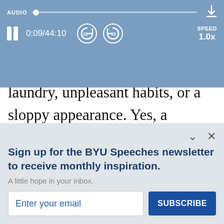[Figure (screenshot): Audio player bar with play/pause button showing pause icon, time 0:09/44:10, skip back 15 and skip forward 15 buttons, speed control showing 1.0x, and a download icon]
laundry, unpleasant habits, or a sloppy appearance. Yes, a righteous woman will love you for what is in your mind and heart, but she would very much appreciate your sinc efforts to display good manners and
Sign up for the BYU Speeches newsletter to receive monthly inspiration.
A little hope in your inbox.
Enter your email
SUBSCRIBE